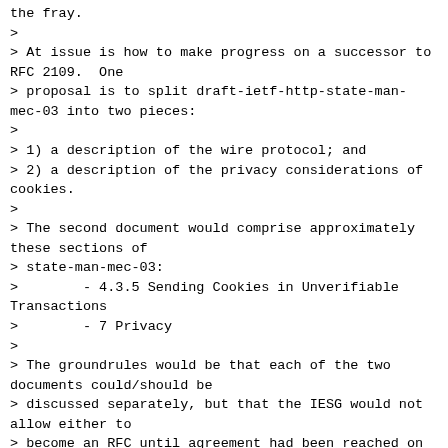the fray.
>
> At issue is how to make progress on a successor to RFC 2109.  One
> proposal is to split draft-ietf-http-state-man-mec-03 into two pieces:
>
> 1) a description of the wire protocol; and
> 2) a description of the privacy considerations of cookies.
>
> The second document would comprise approximately these sections of
> state-man-mec-03:
>        - 4.3.5 Sending Cookies in Unverifiable Transactions
>        - 7 Privacy
>
> The groundrules would be that each of the two documents could/should be
> discussed separately, but that the IESG would not allow either to
> become an RFC until agreement had been reached on both.
>
> I'm soliciting discussion of this approach before I invest the time
> to split the document in two.  What do you think of this approach?